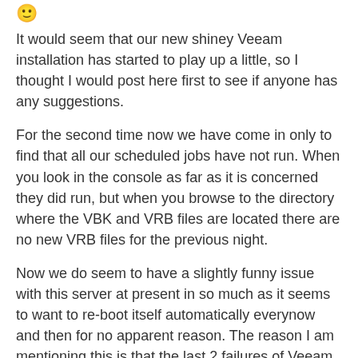It would seem that our new shiney Veeam installation has started to play up a little, so I thought I would post here first to see if anyone has any suggestions.
For the second time now we have come in only to find that all our scheduled jobs have not run. When you look in the console as far as it is concerned they did run, but when you browse to the directory where the VBK and VRB files are located there are no new VRB files for the previous night.
Now we do seem to have a slightly funny issue with this server at present in so much as it seems to want to re-boot itself automatically everynow and then for no apparent reason. The reason I am mentioning this is that the last 2 failures of Veeam backups have been after a unscheduled re-boot.
I have taken a look in the VeeamBackupService.log.
The time stamp is just after re-boot as the system is coming